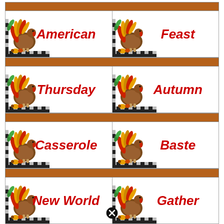[Figure (illustration): Thanksgiving vocabulary flash card grid with 8 cards arranged in 4 rows of 2 columns. Each card has a brown header bar, a turkey-with-harvest illustration in the bottom-left corner, and a bold italic red word. Words: American, Feast, Thursday, Autumn, Casserole, Baste, New World, Gather.]
[Figure (illustration): Small black circle with X symbol at the bottom center of the page.]